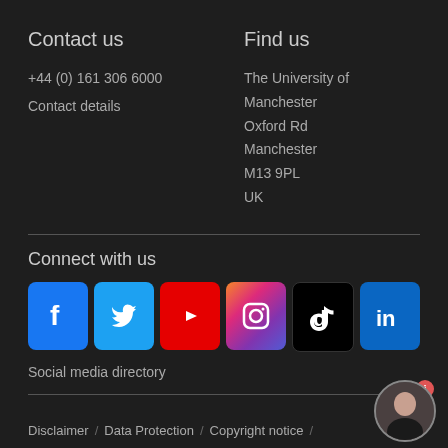Contact us
+44 (0) 161 306 6000
Contact details
Find us
The University of Manchester
Oxford Rd
Manchester
M13 9PL
UK
Connect with us
[Figure (logo): Six social media icons: Facebook, Twitter, YouTube, Instagram, TikTok, LinkedIn]
Social media directory
Disclaimer  /   Data Protection  /   Copyright notice  /